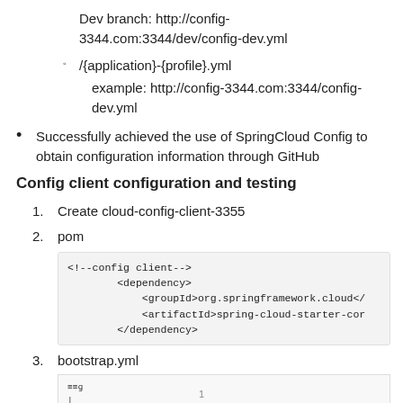Dev branch: http://config-3344.com:3344/dev/config-dev.yml
/{application}-{profile}.yml
example: http://config-3344.com:3344/config-dev.yml
Successfully achieved the use of SpringCloud Config to obtain configuration information through GitHub
Config client configuration and testing
1. Create cloud-config-client-3355
2. pom
[Figure (screenshot): Code block showing XML dependency snippet: <!--config client--> <dependency> <groupId>org.springframework.cloud</ <artifactId>spring-cloud-starter-cor </dependency>]
3. bootstrap.yml
[Figure (screenshot): Screenshot of bootstrap.yml content with Chinese annotations about applicaiton.yml and bootstrap.yml configuration precedence]